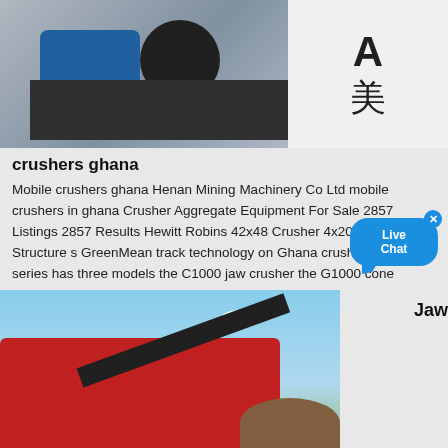[Figure (photo): Industrial jaw crusher machine with blue electric motor and black mechanical parts, white panel with Chinese characters on the right]
crushers ghana
Mobile crushers ghana Henan Mining Machinery Co Ltd mobile crushers in ghana Crusher Aggregate Equipment For Sale 2857 Listings 2857 Results Hewitt Robins 42x48 Crusher 4x20 Feeder Feed Structure s GreenMean track technology on Ghana crusher The 1000 series has three models the C1000 jaw crusher the G1000 cone crusher with or without...
More Details
[Figure (photo): Red mobile jaw crusher operating on a construction site with conveyor arm extended, blue sky background]
Jaw